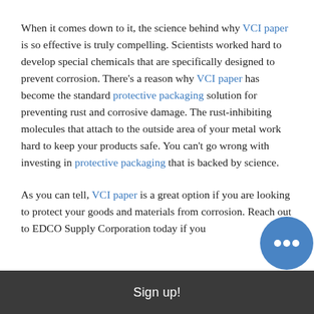When it comes down to it, the science behind why VCI paper is so effective is truly compelling. Scientists worked hard to develop special chemicals that are specifically designed to prevent corrosion. There's a reason why VCI paper has become the standard protective packaging solution for preventing rust and corrosive damage. The rust-inhibiting molecules that attach to the outside area of your metal work hard to keep your products safe. You can't go wrong with investing in protective packaging that is backed by science.
As you can tell, VCI paper is a great option if you are looking to protect your goods and materials from corrosion. Reach out to EDCO Supply Corporation today if you
Sign up!